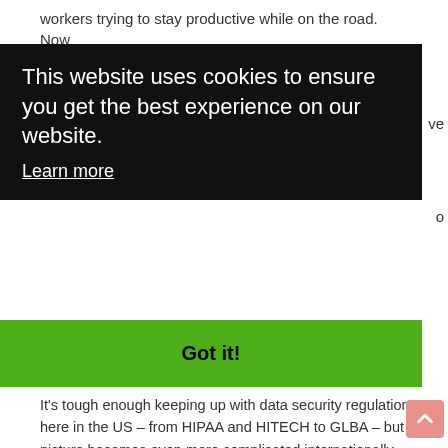workers trying to stay productive while on the road. Now
[Figure (screenshot): Cookie consent banner overlay with black background. Text reads: 'This website uses cookies to ensure you get the best experience on our website.' with a 'Learn more' underlined link below. A green bar below contains the text 'Got it!' in bold.]
It's tough enough keeping up with data security regulations here in the US – from HIPAA and HITECH to GLBA – but the picture becomes even more complicated internationally. IronKey Basic S1000 helps you nail down this often moving target with a solution that's FIPS 140-2 Level 3 certified. Even better, all IronKey Basic S1000 drives feature hardware-based XTS-AES 256-bit hardware encryption, which provides more protection than CBC and other block cipher modes. And because many regulations are being updated to require this enhanced encryption, IronKey Basic S1000 drives help you future-proof your